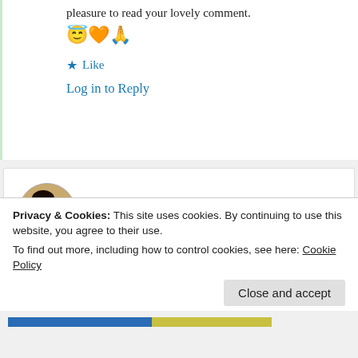pleasure to read your lovely comment. 😇🧡🙏
★ Like
Log in to Reply
cute
9th Jun 2021 at 5:33 pm
This is really beautiful I really love your poems
Privacy & Cookies: This site uses cookies. By continuing to use this website, you agree to their use.
To find out more, including how to control cookies, see here: Cookie Policy
Close and accept